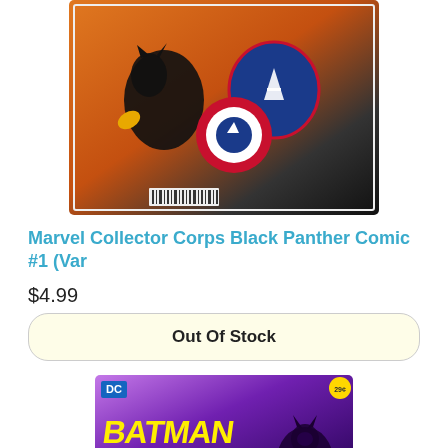[Figure (photo): Comic book cover: Marvel Collector Corps Black Panther Comic #1, variant edition. Shows stylized chibi-style Black Panther and Captain America characters on an orange and dark background. Comic is in a protective sleeve with barcode visible at bottom.]
Marvel Collector Corps Black Panther Comic #1 (Var
$4.99
Out Of Stock
[Figure (photo): Comic book cover: DC Batman comic, partially visible. Purple and dark background with stylized chibi-style Batman character. Yellow Batman title text visible with pink subtitle text. DC logo in upper left corner.]